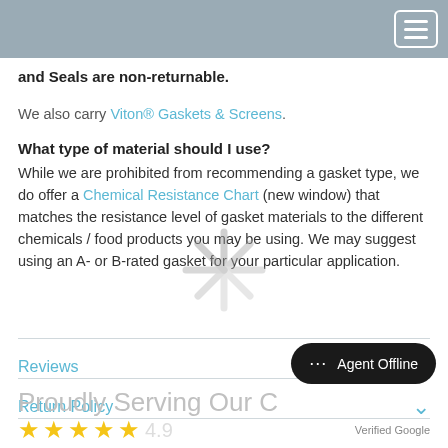Navigation bar with hamburger menu
and Seals are non-returnable.
We also carry Viton® Gaskets & Screens.
What type of material should I use?
While we are prohibited from recommending a gasket type, we do offer a Chemical Resistance Chart (new window) that matches the resistance level of gasket materials to the different chemicals / food products you may be using. We may suggest using an A- or B-rated gasket for your particular application.
Reviews
Return Policy
Proudly Serving Our C
Verified Google